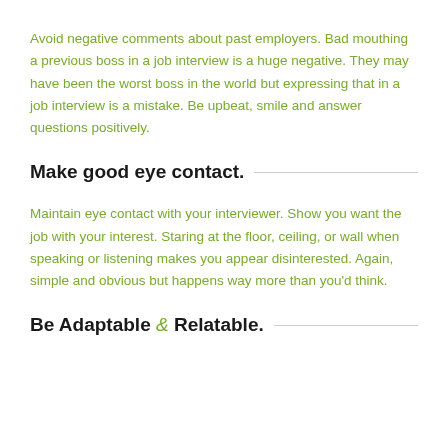Avoid negative comments about past employers. Bad mouthing a previous boss in a job interview is a huge negative. They may have been the worst boss in the world but expressing that in a job interview is a mistake. Be upbeat, smile and answer questions positively.
Make good eye contact.
Maintain eye contact with your interviewer. Show you want the job with your interest. Staring at the floor, ceiling, or wall when speaking or listening makes you appear disinterested. Again, simple and obvious but happens way more than you'd think.
Be Adaptable & Relatable.